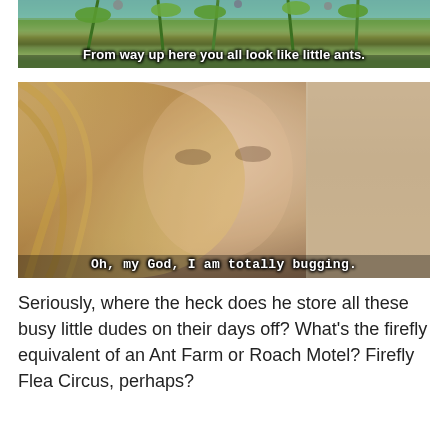[Figure (screenshot): Animated scene (A Bug's Life style) showing insects on tall plants with subtitle text: 'From way up here you all look like little ants.']
[Figure (screenshot): Live action photo of a young blonde woman in a car looking confused or surprised, with subtitle text: 'Oh, my God, I am totally bugging.']
Seriously, where the heck does he store all these busy little dudes on their days off?  What's the firefly equivalent of an Ant Farm or Roach Motel?  Firefly Flea Circus, perhaps?